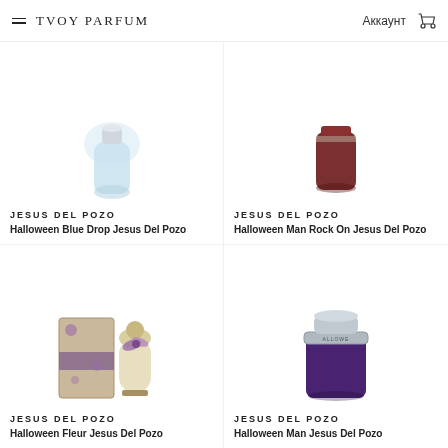TVOY PARFUM — Аккаунт
[Figure (photo): Perfume bottle - Halloween Blue Drop Jesus Del Pozo (partial, top visible)]
JESUS DEL POZO
Halloween Blue Drop Jesus Del Pozo
[Figure (photo): Perfume bottle - Halloween Man Rock On Jesus Del Pozo (dark red/brown bottle, partial)]
JESUS DEL POZO
Halloween Man Rock On Jesus Del Pozo
[Figure (photo): Perfume set - Halloween Fleur Jesus Del Pozo (box and bottle with purple flower decoration)]
JESUS DEL POZO
Halloween Fleur Jesus Del Pozo
[Figure (photo): Perfume bottle - Halloween Man Jesus Del Pozo (dark purple frosted bottle with silver cap)]
JESUS DEL POZO
Halloween Man Jesus Del Pozo